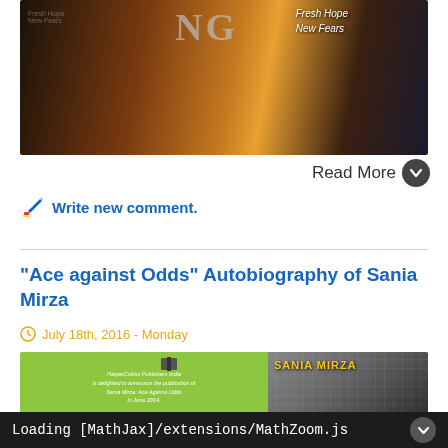[Figure (photo): Dark movie/book promotional image with 'Fresh Hope New Fears' text overlay, showing a dramatic scene with golden light and a figure.]
Read More
Write new comment.
"Ace against Odds" Autobiography of Sania Mirza
July 18th, 2016 - Monday
[Figure (photo): HarperCollins Publishers India announcement for Sania Mirza: Ace Against Odds book, showing a close-up of Sania Mirza's face with the book cover in green and white.]
Loading [MathJax]/extensions/MathZoom.js